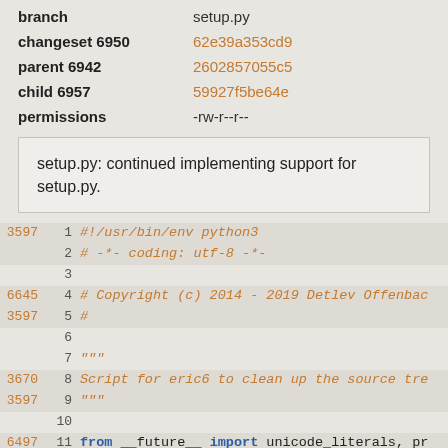| field | value |
| --- | --- |
| branch | setup.py |
| changeset 6950 | 62e39a353cd9 |
| parent 6942 | 2602857055c5 |
| child 6957 | 59927f5be64e |
| permissions | -rw-r--r-- |
setup.py: continued implementing support for setup.py.
3597  1  #!/usr/bin/env python3
  2  # -*- coding: utf-8 -*-
  3
6645  4  # Copyright (c) 2014 - 2019 Detlev Offenbac
3597  5  #
  6
  7  """
3670  8  Script for eric6 to clean up the source tre
3597  9  """
  10
6497  11  from __future__ import unicode_literals, pr
3597  12
  13  import os
  14  import sys
  15  import fnmatch
  16  import shutil
  17